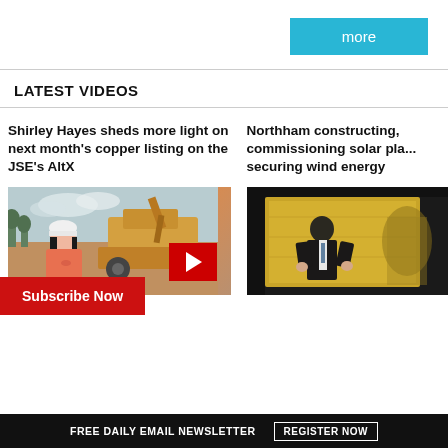more
LATEST VIDEOS
Shirley Hayes sheds more light on next month's copper listing on the JSE's AltX
[Figure (photo): Video thumbnail of a woman in a hard hat and orange jacket in front of an excavator, with a red play button overlay]
Northham constructing, commissioning solar pla... securing wind energy
[Figure (photo): Video thumbnail of a man in a suit speaking at an event in front of a yellow background]
Subscribe Now
FREE DAILY EMAIL NEWSLETTER   REGISTER NOW